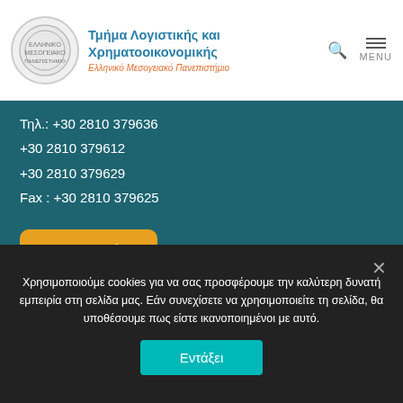Τμήμα Λογιστικής και Χρηματοοικονομικής
Ελληνικό Μεσογειακό Πανεπιστήμιο
Τηλ.: +30 2810 379636
+30 2810 379612
+30 2810 379629
Fax : +30 2810 379625
Επικοινωνία
Πρόεδρος Τμήματος
Δρ. Χατζηαντωνίου Ιωάννης
Αναπληρωτής Καθηγητής
Χρησιμοποιούμε cookies για να σας προσφέρουμε την καλύτερη δυνατή εμπειρία στη σελίδα μας. Εάν συνεχίσετε να χρησιμοποιείτε τη σελίδα, θα υποθέσουμε πως είστε ικανοποιημένοι με αυτό.
Εντάξει